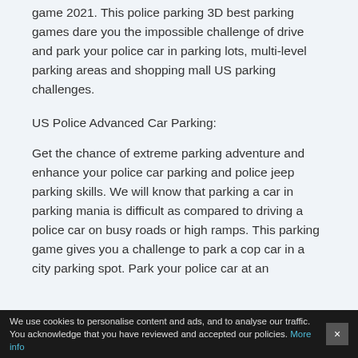game 2021. This police parking 3D best parking games dare you the impossible challenge of drive and park your police car in parking lots, multi-level parking areas and shopping mall US parking challenges.
US Police Advanced Car Parking:
Get the chance of extreme parking adventure and enhance your police car parking and police jeep parking skills. We will know that parking a car in parking mania is difficult as compared to driving a police car on busy roads or high ramps. This parking game gives you a challenge to park a cop car in a city parking spot. Park your police car at an
We use cookies to personalise content and ads, and to analyse our traffic. You acknowledge that you have reviewed and accepted our policies. More info